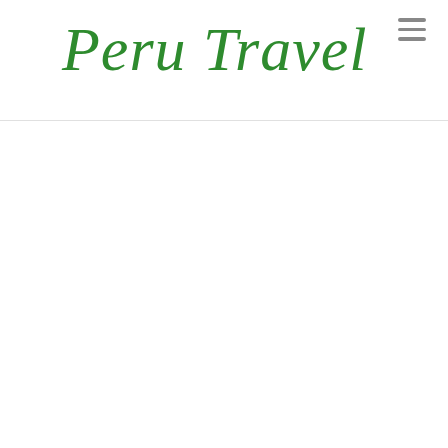[Figure (logo): Peru Travel logo in decorative green italic serif font]